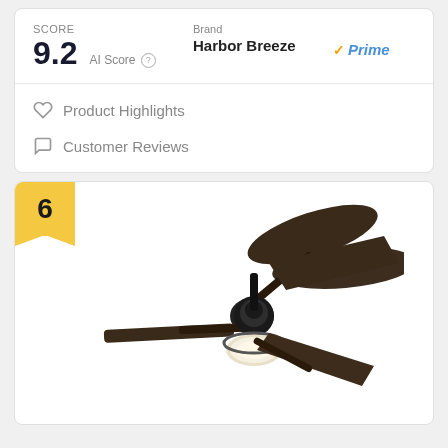SCORE
9.2 AI Score
Brand: Harbor Breeze
Prime
Product Highlights
Customer Reviews
6
[Figure (photo): Dark bronze ceiling fan with four blades and a light fixture at the bottom, viewed from a low angle against a white background.]